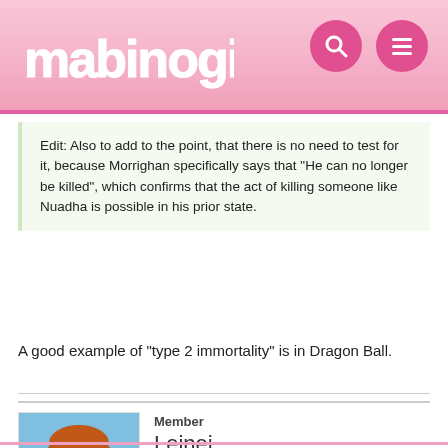Mabinogi community forum header
Edit: Also to add to the point, that there is no need to test for it, because Morrighan specifically says that "He can no longer be killed", which confirms that the act of killing someone like Nuadha is possible in his prior state.
A good example of "type 2 immortality" is in Dragon Ball.
Member
Leinei
Mabinogi Rep: 16,015
Posts: 2,442
JULY 13, 2018   EDITED JULY 13, 2018